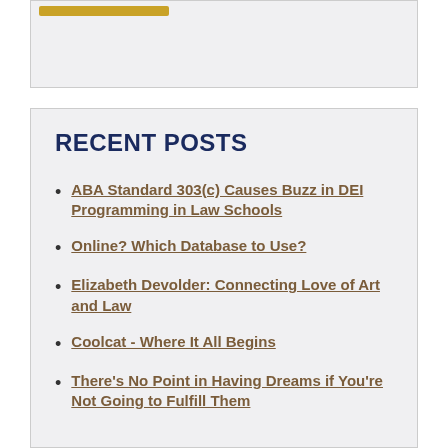[Figure (other): Top gray box with a gold/yellow bar element at the top left]
RECENT POSTS
ABA Standard 303(c) Causes Buzz in DEI Programming in Law Schools
Online? Which Database to Use?
Elizabeth Devolder: Connecting Love of Art and Law
Coolcat - Where It All Begins
There's No Point in Having Dreams if You're Not Going to Fulfill Them